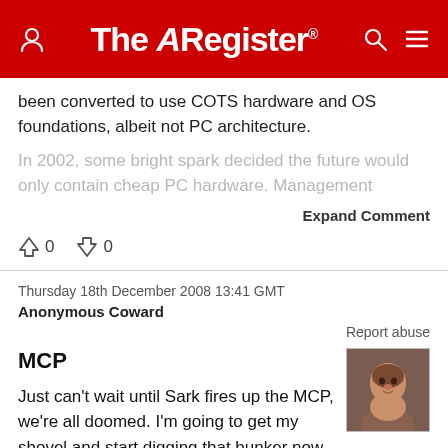The Register
been converted to use COTS hardware and OS foundations, albeit not PC architecture.
In 2002, some bright spark decided the future would only contain cheap PC hardware. Management thought that...
Expand Comment
0  0
Thursday 18th December 2008 13:41 GMT
Anonymous Coward
Report abuse
MCP
Just can't wait until Sark fires up the MCP, we're all doomed. I'm going to get my shovel and start digging that bunker now.
Evil Gates ? Because he's Sark / Ed Dillinger !
[Figure (photo): Avatar photo of a person's face]